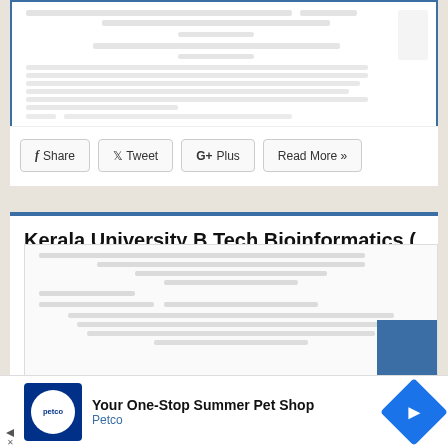[Figure (screenshot): Blurred/partial view of a document question paper preview at the top of the page]
Share  Tweet  G+Plus  Read More »
Kerala University B Tech Bioinformatics ( B ) November 2016 Question Paper
June 30, 2021  2016 Question Papers  Bioinformatics (B)  Kerala University Question Papers  Leave A Reply
[Figure (screenshot): Blurred preview of the Kerala University B Tech Bioinformatics question paper document]
[Figure (screenshot): Advertisement banner for Petco - Your One-Stop Summer Pet Shop]